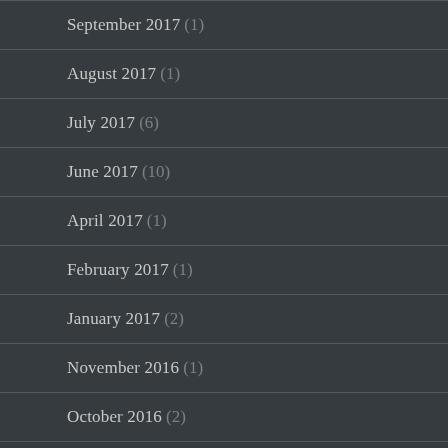September 2017 (1)
August 2017 (1)
July 2017 (6)
June 2017 (10)
April 2017 (1)
February 2017 (1)
January 2017 (2)
November 2016 (1)
October 2016 (2)
September 2016 (1)
August 2016 (4)